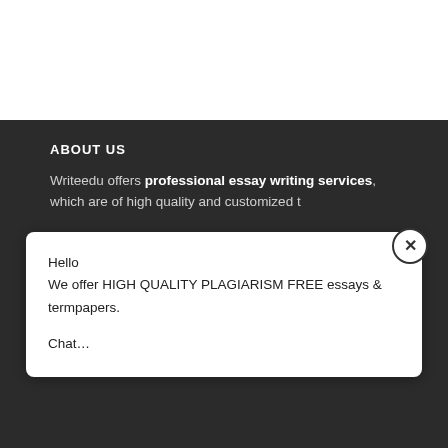ABOUT US
Writeedu offers professional essay writing services, which are of high quality and customized t…
Hello
We offer HIGH QUALITY PLAGIARISM FREE essays & termpapers.

Chat…
QUICK LINKS
Chat Here